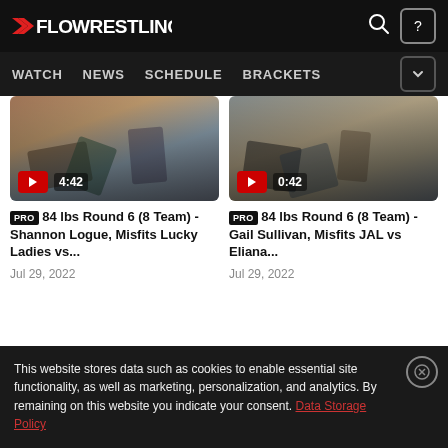FLOWRESTLING — WATCH | NEWS | SCHEDULE | BRACKETS
[Figure (screenshot): Video thumbnail: wrestling match, duration 4:42]
PRO 84 lbs Round 6 (8 Team) - Shannon Logue, Misfits Lucky Ladies vs...
Jul 29, 2022
[Figure (screenshot): Video thumbnail: wrestling match, duration 0:42]
PRO 84 lbs Round 6 (8 Team) - Gail Sullivan, Misfits JAL vs Eliana...
Jul 29, 2022
This website stores data such as cookies to enable essential site functionality, as well as marketing, personalization, and analytics. By remaining on this website you indicate your consent. Data Storage Policy